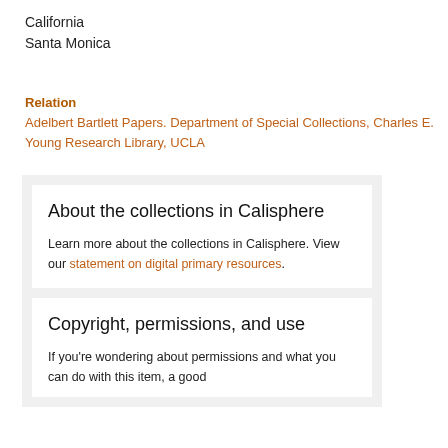California
Santa Monica
Relation
Adelbert Bartlett Papers. Department of Special Collections, Charles E. Young Research Library, UCLA
About the collections in Calisphere
Learn more about the collections in Calisphere. View our statement on digital primary resources.
Copyright, permissions, and use
If you're wondering about permissions and what you can do with this item, a good